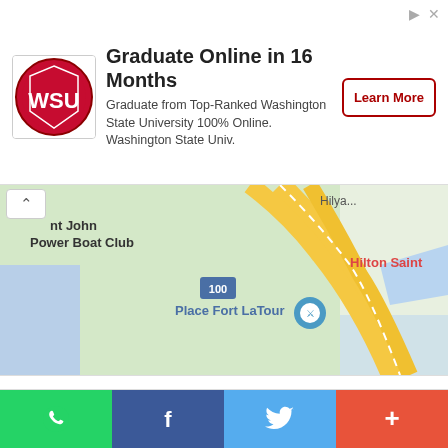[Figure (infographic): Advertisement banner for Washington State University online graduate program, showing WSU logo, headline 'Graduate Online in 16 Months', description text, and 'Learn More' button.]
[Figure (map): Google Maps partial view showing Saint John Power Boat Club, Place Fort LaTour, Hilton Saint, and road intersections with yellow highways and blue water areas.]
Friends Cafe and Convenience
400 Main St, Saint John, NB E2K 4N5, Canada
Location: (45.2749194, -66.0761078)
Rating: 4/5 ★★★★☆ (7) Votes
CONTACT DETAILS
[Figure (infographic): Social share bar with WhatsApp (green), Facebook (blue), Twitter (light blue), and Plus/More (red-orange) buttons.]